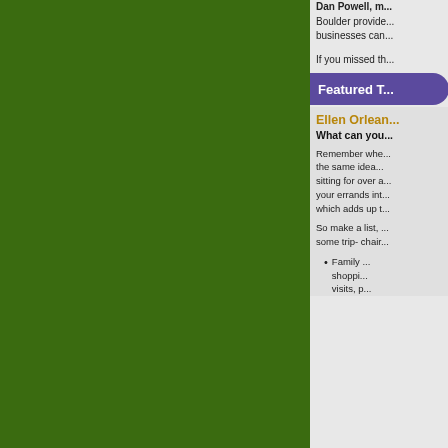Dan Powell, m... Boulder provides... businesses can...
If you missed th...
Featured T...
Ellen Orleans...
What can you...
Remember whe... the same idea... sitting for over a... your errands int... which adds up t...
So make a list, ... some trip- chair...
Family ... shoppi... visits, p...